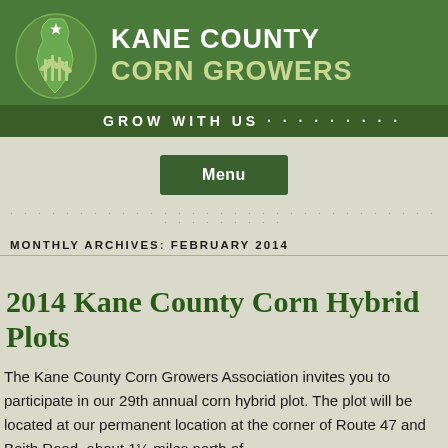[Figure (logo): Kane County Corn Growers logo with Illinois state shape silhouette in green/white, corn stalks, and a star]
KANE COUNTY CORN GROWERS
GROW WITH US · · · · · · · · ·
Menu
MONTHLY ARCHIVES: FEBRUARY 2014
2014 Kane County Corn Hybrid Plots
The Kane County Corn Growers Association invites you to participate in our 29th annual corn hybrid plot. The plot will be located at our permanent location at the corner of Route 47 and Beith Road, about 1½ miles north of